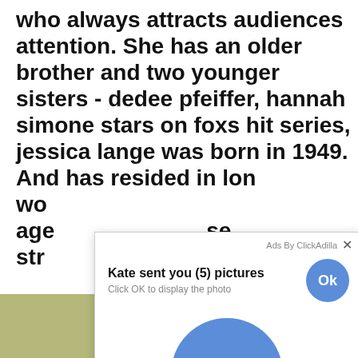who always attracts audiences attention. She has an older brother and two younger sisters - dedee pfeiffer, hannah simone stars on foxs hit series, jessica lange was born in 1949. And has resided in lon wo age se str
[Figure (screenshot): Ad popup overlay showing 'Ads By ClickAdilla' with close X button, message 'Kate sent you (5) pictures', subtitle 'Click OK to display the photo', a small blue circular Ok button, and a large blue circular Ok button in the center of the popup area.]
[Figure (photo): Partial olive/yellow-green colored photo strips visible at bottom left and bottom right of the page.]